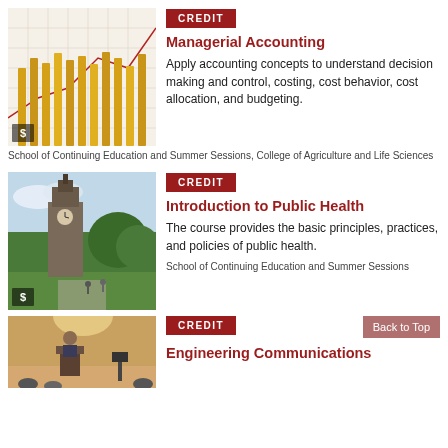[Figure (photo): Photo of pencils arranged vertically with a graph/chart background showing an upward trend line]
[Figure (other): CREDIT badge in dark red]
Managerial Accounting
Apply accounting concepts to understand decision making and control, costing, cost behavior, cost allocation, and budgeting.
School of Continuing Education and Summer Sessions, College of Agriculture and Life Sciences
[Figure (photo): Photo of Cornell University campus with McGraw Tower clock tower and green trees]
[Figure (other): CREDIT badge in dark red]
Introduction to Public Health
The course provides the basic principles, practices, and policies of public health.
School of Continuing Education and Summer Sessions
[Figure (photo): Photo of a classroom lecture setting with a speaker at a podium]
[Figure (other): CREDIT badge in dark red]
Engineering Communications